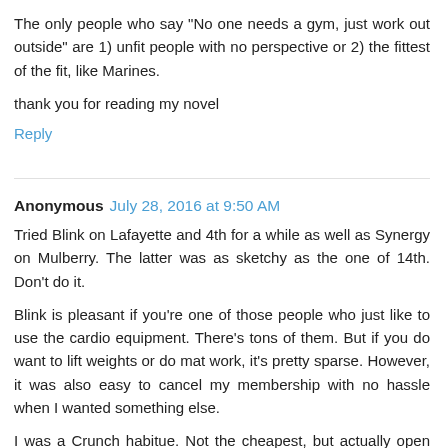The only people who say "No one needs a gym, just work out outside" are 1) unfit people with no perspective or 2) the fittest of the fit, like Marines.
thank you for reading my novel
Reply
Anonymous  July 28, 2016 at 9:50 AM
Tried Blink on Lafayette and 4th for a while as well as Synergy on Mulberry. The latter was as sketchy as the one of 14th. Don't do it.
Blink is pleasant if you're one of those people who just like to use the cardio equipment. There's tons of them. But if you do want to lift weights or do mat work, it's pretty sparse. However, it was also easy to cancel my membership with no hassle when I wanted something else.
I was a Crunch habitue. Not the cheapest, but actually open long hours with lots of equipment.